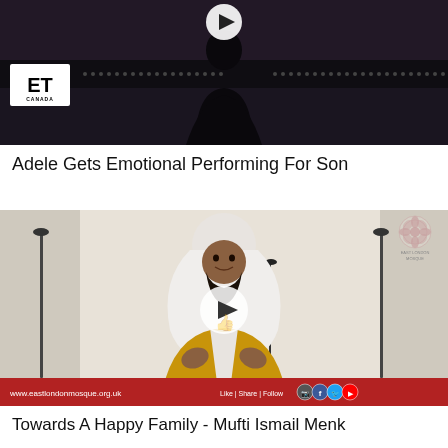[Figure (screenshot): Video thumbnail showing a dark silhouetted figure on a stage with ET Canada logo in lower left and a play button at top center. Decorative dot patterns on dark background bar.]
Adele Gets Emotional Performing For Son
[Figure (screenshot): Video thumbnail showing Mufti Ismail Menk in white head covering and yellow robe speaking at podium with microphones, East London Mosque logo top right, red bar at bottom with website www.eastlondonmosque.org.uk and Like|Share|Follow social media icons, play button overlay in center.]
Towards A Happy Family - Mufti Ismail Menk